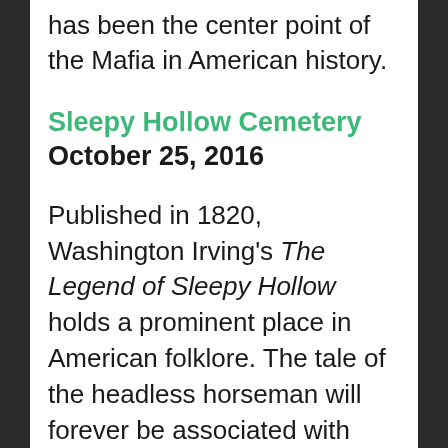has been the center point of the Mafia in American history.
Sleepy Hollow Cemetery October 25, 2016
Published in 1820, Washington Irving's The Legend of Sleepy Hollow holds a prominent place in American folklore. The tale of the headless horseman will forever be associated with Sleepy Hollow Cemetery. While tourists flock to the historic graveyard year round, the changing colors of fall herald in its prime seasonal attraction: Halloween